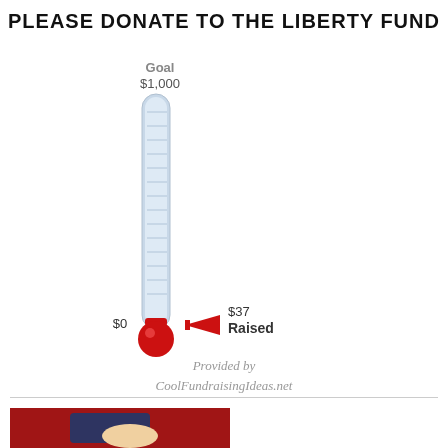PLEASE DONATE TO THE LIBERTY FUND
[Figure (infographic): Thermometer fundraising graphic showing Goal of $1,000 at top and $37 Raised at the bottom with red arrow indicator. The thermometer tube is light blue/white with horizontal tick marks. The base is a red circle. A red arrow points left indicating $37 Raised near the $0 mark.]
Provided by
CoolFundraisingIdeas.net
[Figure (photo): Photo showing a hand in a suit jacket handing something on a red background, partially visible at bottom of page.]